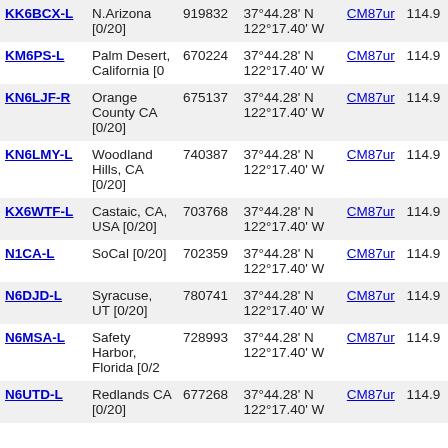| Callsign | Location | Node | Coordinates | Grid | Freq |
| --- | --- | --- | --- | --- | --- |
| KK6BCX-L | N.Arizona [0/20] | 919832 | 37°44.28' N 122°17.40' W | CM87ur | 114.9 |
| KM6PS-L | Palm Desert, California [0 | 670224 | 37°44.28' N 122°17.40' W | CM87ur | 114.9 |
| KN6LJF-R | Orange County CA [0/20] | 675137 | 37°44.28' N 122°17.40' W | CM87ur | 114.9 |
| KN6LMY-L | Woodland Hills, CA [0/20] | 740387 | 37°44.28' N 122°17.40' W | CM87ur | 114.9 |
| KX6WTF-L | Castaic, CA, USA [0/20] | 703768 | 37°44.28' N 122°17.40' W | CM87ur | 114.9 |
| N1CA-L | SoCal [0/20] | 702359 | 37°44.28' N 122°17.40' W | CM87ur | 114.9 |
| N6DJD-L | Syracuse, UT [0/20] | 780741 | 37°44.28' N 122°17.40' W | CM87ur | 114.9 |
| N6MSA-L | Safety Harbor, Florida [0/2 | 728993 | 37°44.28' N 122°17.40' W | CM87ur | 114.9 |
| N6UTD-L | Redlands CA [0/20] | 677268 | 37°44.28' N 122°17.40' W | CM87ur | 114.9 |